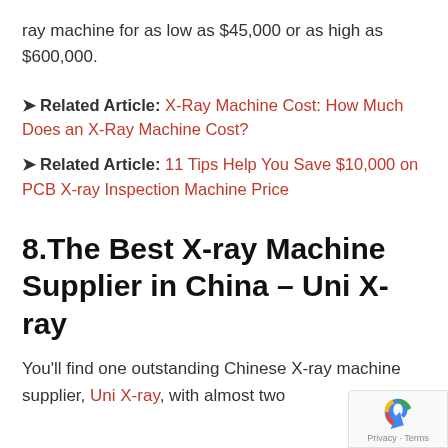ray machine for as low as $45,000 or as high as $600,000.
Related Article: X-Ray Machine Cost: How Much Does an X-Ray Machine Cost?
Related Article: 11 Tips Help You Save $10,000 on PCB X-ray Inspection Machine Price
8.The Best X-ray Machine Supplier in China – Uni X-ray
You'll find one outstanding Chinese X-ray machine supplier, Uni X-ray, with almost two